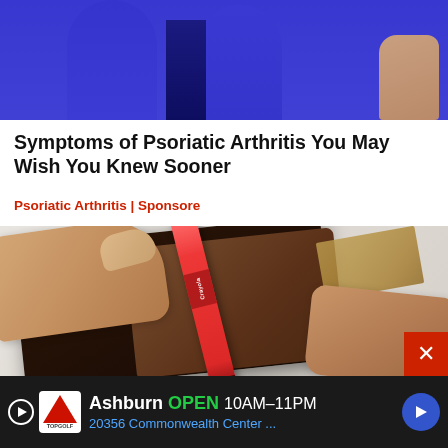[Figure (photo): Top portion of a person in blue leggings/pants with a hand visible at right edge, white background]
Symptoms of Psoriatic Arthritis You May Wish You Knew Sooner
Psoriatic Arthritis | Sponsore
[Figure (photo): Hands opening a dark leather wallet containing a Crayola crayon and a euro banknote, on a light background]
[Figure (screenshot): Topgolf advertisement banner: Ashburn OPEN 10AM-11PM, 20356 Commonwealth Center...]